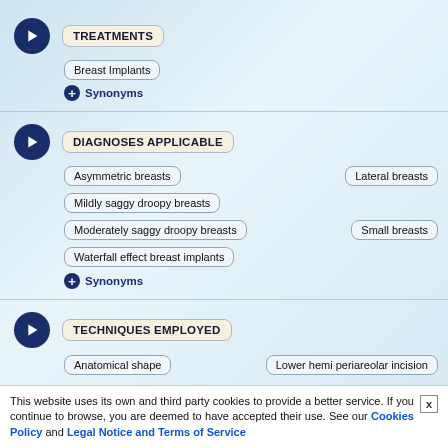TREATMENTS
Breast Implants
Synonyms
DIAGNOSES APPLICABLE
Asymmetric breasts
Lateral breasts
Mildly saggy droopy breasts
Moderately saggy droopy breasts
Small breasts
Waterfall effect breast implants
Synonyms
TECHNIQUES EMPLOYED
Anatomical shape
Lower hemi periareolar incision
This website uses its own and third party cookies to provide a better service. If you continue to browse, you are deemed to have accepted their use. See our Cookies Policy and Legal Notice and Terms of Service